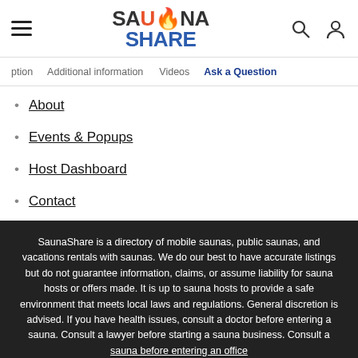SaunaShare — site header with logo, hamburger menu, search and user icons
ption   Additional information   Videos   Ask a Question
About
Events & Popups
Host Dashboard
Contact
SaunaShare is a directory of mobile saunas, public saunas, and vacations rentals with saunas. We do our best to have accurate listings but do not guarantee information, claims, or assume liability for sauna hosts or offers made. It is up to sauna hosts to provide a safe environment that meets local laws and regulations. General discretion is advised. If you have health issues, consult a doctor before entering a sauna. Consult a lawyer before starting a sauna business. Consult a sauna before entering an office.